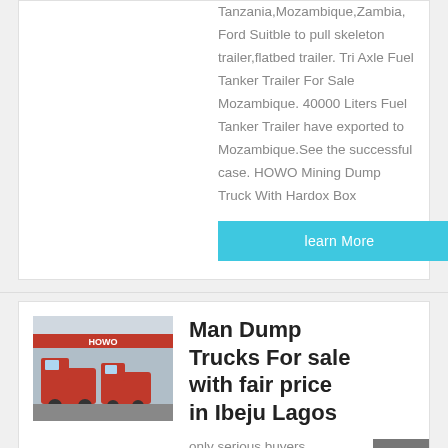Tanzania,Mozambique,Zambia, Ford Suitble to pull skeleton trailer,flatbed trailer. Tri Axle Fuel Tanker Trailer For Sale Mozambique. 40000 Liters Fuel Tanker Trailer have exported to Mozambique.See the successful case. HOWO Mining Dump Truck With Hardox Box
learn More
[Figure (photo): Photo of red HOWO dump trucks parked in front of a building with HOWO signage]
Man Dump Trucks For sale with fair price in Ibeju Lagos
only serious buyers needed. We have